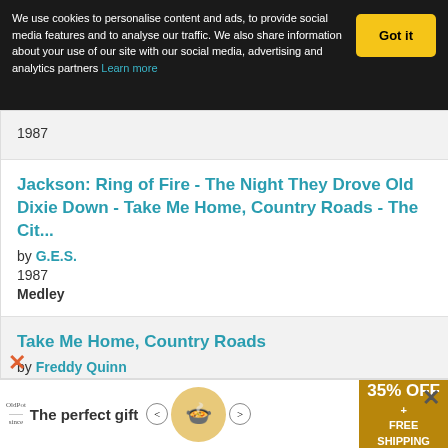We use cookies to personalise content and ads, to provide social media features and to analyse our traffic. We also share information about your use of our site with our social media, advertising and analytics partners Learn more
1987
Jackson: Ring of Fire - The Night They Drove Old Dixie Down - Take Me Home, Country Roads - The Cit...
by G.E.S.
1987
Medley
Take Me Home, Country Roads
by Freddy Quinn
1987
Take Me Home Country Roads
by Wim Dekker
[Figure (screenshot): Advertisement banner: The perfect gift with food product, 35% OFF + FREE SHIPPING]